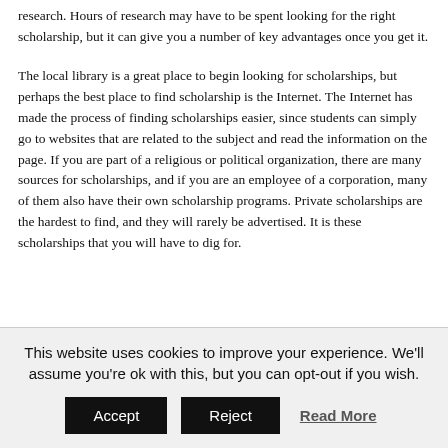research. Hours of research may have to be spent looking for the right scholarship, but it can give you a number of key advantages once you get it.
The local library is a great place to begin looking for scholarships, but perhaps the best place to find scholarship is the Internet. The Internet has made the process of finding scholarships easier, since students can simply go to websites that are related to the subject and read the information on the page. If you are part of a religious or political organization, there are many sources for scholarships, and if you are an employee of a corporation, many of them also have their own scholarship programs. Private scholarships are the hardest to find, and they will rarely be advertised. It is these scholarships that you will have to dig for.
This website uses cookies to improve your experience. We'll assume you're ok with this, but you can opt-out if you wish.